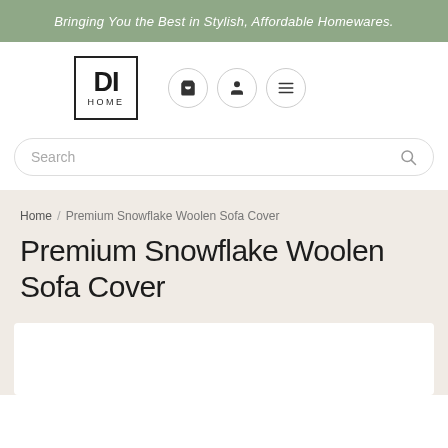Bringing You the Best in Stylish, Affordable Homewares.
[Figure (logo): DI HOME logo — bold DI letters above the word HOME inside a square border]
Home / Premium Snowflake Woolen Sofa Cover
Premium Snowflake Woolen Sofa Cover